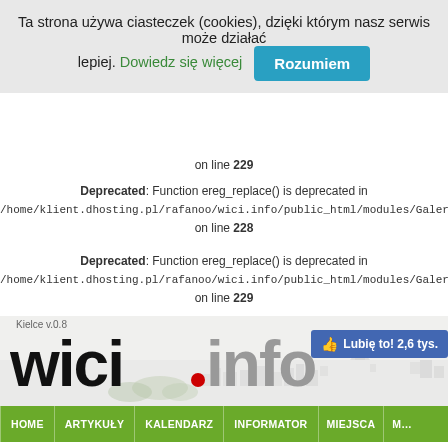Ta strona używa ciasteczek (cookies), dzięki którym nasz serwis może działać lepiej. Dowiedz się więcej   Rozumiem
on line 229
Deprecated: Function ereg_replace() is deprecated in /home/klient.dhosting.pl/rafanoo/wici.info/public_html/modules/Galeria_Kielce/include/ on line 228
Deprecated: Function ereg_replace() is deprecated in /home/klient.dhosting.pl/rafanoo/wici.info/public_html/modules/Galeria_Kielce/include/ on line 229
[Figure (screenshot): wici.info website logo with city skyline background and Facebook Like badge showing 2,6 tys.]
HOME | ARTYKUŁY | KALENDARZ | INFORMATOR | MIEJSCA | M...
Galeria zdjęć
Albumy :: Zarejestruj sie :: Ostatnie uploady :: Top Lista :: Ulubione :: Szuk...